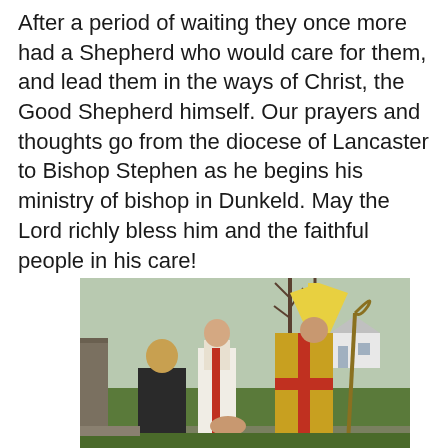After a period of waiting they once more had a Shepherd who would care for them, and lead them in the ways of Christ, the Good Shepherd himself. Our prayers and thoughts go from the diocese of Lancaster to Bishop Stephen as he begins his ministry of bishop in Dunkeld. May the Lord richly bless him and the faithful people in his care!
[Figure (photo): A bishop in gold and red vestments wearing a mitre and holding a crozier shakes hands with a blonde woman in a black jacket, while a priest in white and red vestments stands behind them. Trees and houses are visible in the background.]